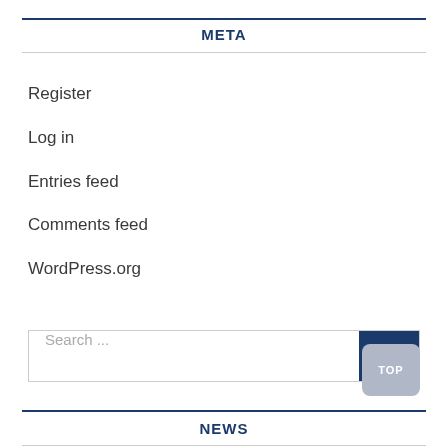META
Register
Log in
Entries feed
Comments feed
WordPress.org
Search ...
NEWS